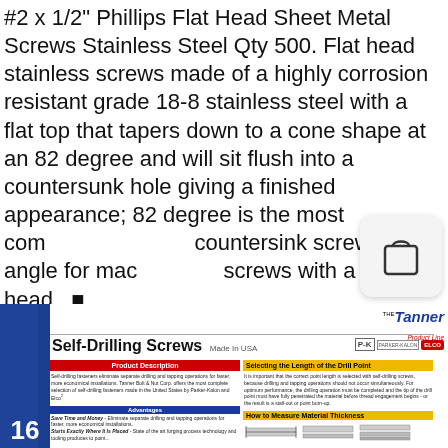#2 x 1/2" Phillips Flat Head Sheet Metal Screws Stainless Steel Qty 500. Flat head stainless screws made of a highly corrosion resistant grade 18-8 stainless steel with a flat top that tapers down to a cone shape at an 82 degree and will sit flush into a countersunk hole giving a finished appearance; 82 degree is the most common countersink screw head angle for machine screws with a flat head.. 🔲.
[Figure (illustration): Shopping bag icon in a rounded rectangle]
[Figure (infographic): Tanner Product Line - Self-Drilling Screws Made In USA catalog page showing product description, advantages, selecting drill point length, and how to measure material thickness sections with P-K Parker-Kalon branding]